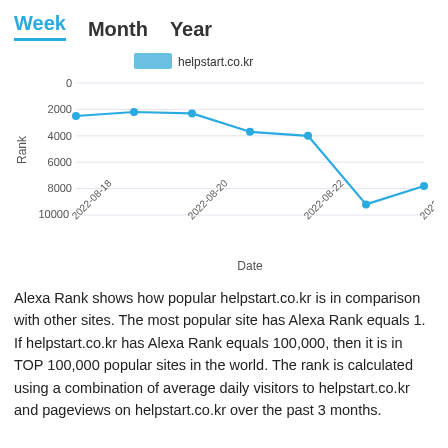Week  Month  Year
[Figure (line-chart): ]
Alexa Rank shows how popular helpstart.co.kr is in comparison with other sites. The most popular site has Alexa Rank equals 1. If helpstart.co.kr has Alexa Rank equals 100,000, then it is in TOP 100,000 popular sites in the world. The rank is calculated using a combination of average daily visitors to helpstart.co.kr and pageviews on helpstart.co.kr over the past 3 months.